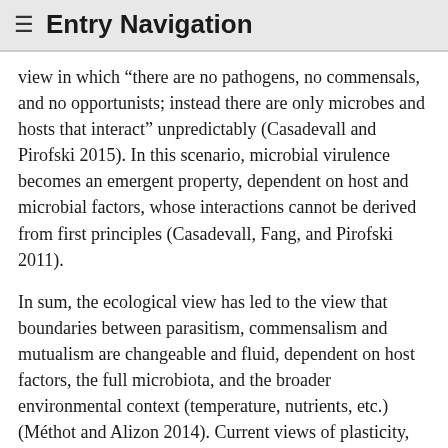≡ Entry Navigation
view in which “there are no pathogens, no commensals, and no opportunists; instead there are only microbes and hosts that interact” unpredictably (Casadevall and Pirofski 2015). In this scenario, microbial virulence becomes an emergent property, dependent on host and microbial factors, whose interactions cannot be derived from first principles (Casadevall, Fang, and Pirofski 2011).
In sum, the ecological view has led to the view that boundaries between parasitism, commensalism and mutualism are changeable and fluid, dependent on host factors, the full microbiota, and the broader environmental context (temperature, nutrients, etc.) (Méthot and Alizon 2014). Current views of plasticity, pathogenicity, and virulence revitalizes the nineteenth-century concept of microbial-host equilibrium (Méthot 2012). In the context of disease ecology, long-lasting associations between hosts and parasites leads to a climax state in which the respective populations remain stable (Burnet and White 1972; Anderson 2004). The immune